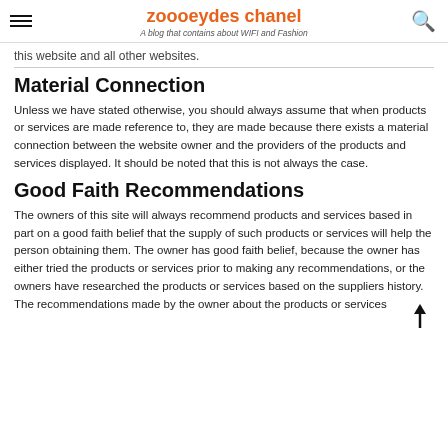zoooeydes chanel — A blog that contains about WIFI and Fashion
this website and all other websites.
Material Connection
Unless we have stated otherwise, you should always assume that when products or services are made reference to, they are made because there exists a material connection between the website owner and the providers of the products and services displayed. It should be noted that this is not always the case.
Good Faith Recommendations
The owners of this site will always recommend products and services based in part on a good faith belief that the supply of such products or services will help the person obtaining them. The owner has good faith belief, because the owner has either tried the products or services prior to making any recommendations, or the owners have researched the products or services based on the suppliers history. The recommendations made by the owner about the products or services